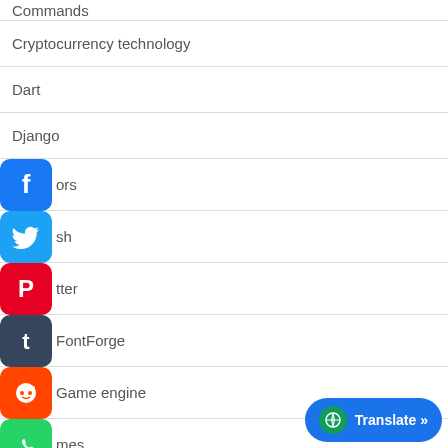Commands
Cryptocurrency technology
Dart
Django
...ors
...sh
...tter
FontForge
Game engine
...mes
...ostscript
...mp
...Hub
Go
Translate »